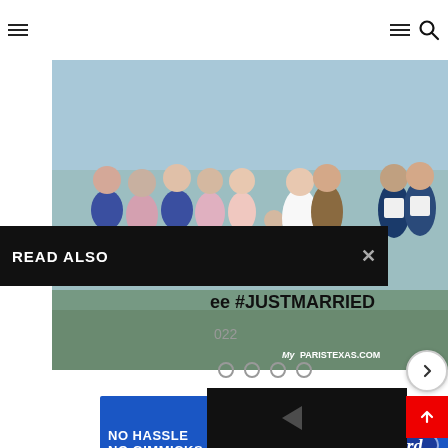Navigation bar with hamburger menus and search icon
[Figure (photo): Wedding party group photo. Bridesmaids in navy and pink dresses on left, groomsmen in white shirts and jeans on right. MyPARISTEXAS.COM watermark in bottom right corner.]
READ ALSO  ×
ee #JUSTMARRIED
022
[Figure (infographic): Ford dealership advertisement: NO HASSLE NO GIMMICKS NO BULL with cartoon bull mascot and Ford logo. PARISFORD.COM. Come See The Ford House Difference.]
[Figure (screenshot): Dark video thumbnail at bottom right]